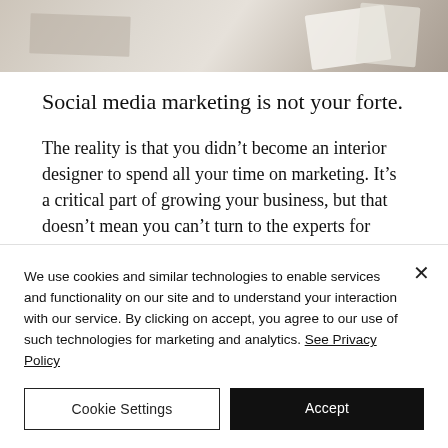[Figure (photo): Top portion of a lifestyle/interior design photo showing fabric swatches and materials on a wooden surface, partially visible at top of page]
Social media marketing is not your forte.
The reality is that you didn't become an interior designer to spend all your time on marketing. It's a critical part of growing your business, but that doesn't mean you can't turn to the experts for help. (text continues below cookie banner)
We use cookies and similar technologies to enable services and functionality on our site and to understand your interaction with our service. By clicking on accept, you agree to our use of such technologies for marketing and analytics. See Privacy Policy
Cookie Settings
Accept